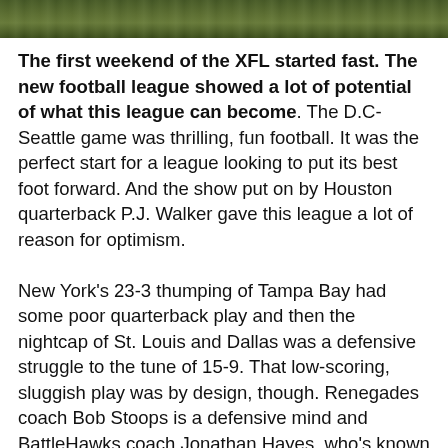[Figure (photo): Aerial or close-up photo of a grass field, showing green and brown turf texture at the top of the page.]
The first weekend of the XFL started fast. The new football league showed a lot of potential of what this league can become. The D.C-Seattle game was thrilling, fun football. It was the perfect start for a league looking to put its best foot forward. And the show put on by Houston quarterback P.J. Walker gave this league a lot of reason for optimism.

New York's 23-3 thumping of Tampa Bay had some poor quarterback play and then the nightcap of St. Louis and Dallas was a defensive struggle to the tune of 15-9. That low-scoring, sluggish play was by design, though. Renegades coach Bob Stoops is a defensive mind and BattleHawks coach Jonathan Hayes, who's known Stoops for years, said after the game he had an